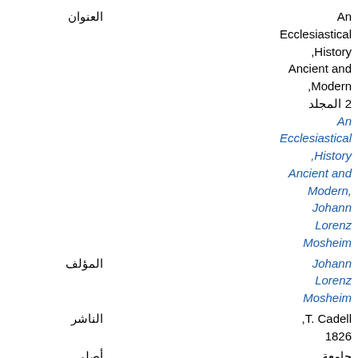| label | value |
| --- | --- |
| العنوان | An Ecclesiastical History, Ancient and Modern, المجلد 2
An Ecclesiastical History, Ancient and Modern,
Johann Lorenz Mosheim |
| المؤلف | Johann Lorenz Mosheim |
| الناشر | T. Cadell, 1826 |
| أصلي من الكتب ذات | جامعة ميتشيغان
6 نيسان |